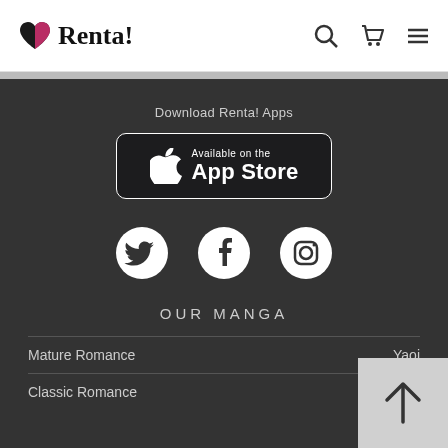Renta!
Download Renta! Apps
[Figure (logo): Available on the App Store button with Apple logo]
[Figure (logo): Social media icons: Twitter, Facebook, Instagram]
OUR MANGA
Mature Romance
Yaoi
Classic Romance
Shojo